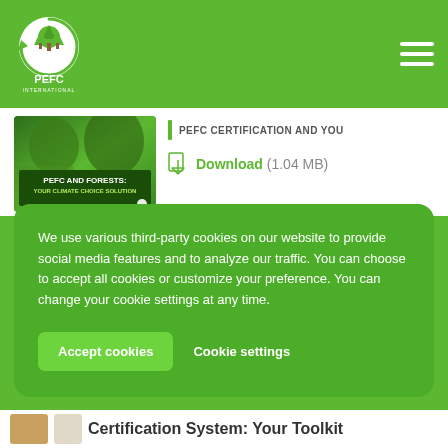[Figure (logo): PEFC logo - white circular emblem with trees on green background, with PEFC text below]
[Figure (photo): Book thumbnail: PEFC AND FORESTS: YOUR CLIMATE CHOICE SOLUTION - green cover with forest imagery and people]
PEFC CERTIFICATION AND YOU
Download (1.04 MB)
We use various third-party cookies on our website to provide social media features and to analyze our traffic. You can choose to accept all cookies or customize your preference. You can change your cookie settings at any time.
Accept cookies
Cookie settings
Certification System: Your Toolkit